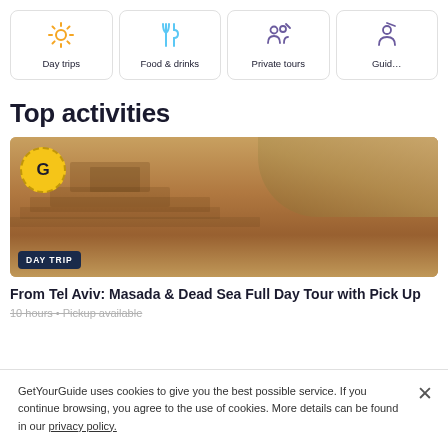[Figure (infographic): Category navigation cards: Day trips (sun icon), Food & drinks (fork icon), Private tours (people icon), Guide (partial, person icon)]
Top activities
[Figure (photo): Aerial photo of ancient ruins in desert/sandy landscape (Masada), with GetYourGuide gold badge (G) in top-left and 'DAY TRIP' badge overlay at bottom-left]
From Tel Aviv: Masada & Dead Sea Full Day Tour with Pick Up
10 hours • Pickup available
GetYourGuide uses cookies to give you the best possible service. If you continue browsing, you agree to the use of cookies. More details can be found in our privacy policy.